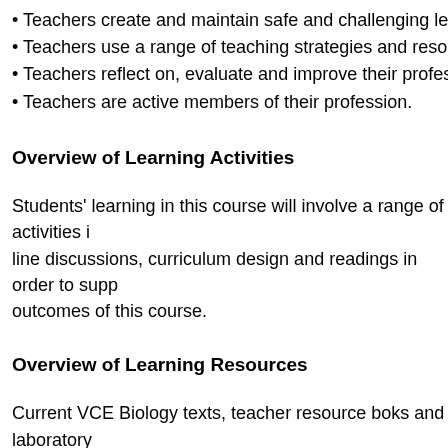• Teachers create and maintain safe and challenging learning en…
• Teachers use a range of teaching strategies and resources to e…
• Teachers reflect on, evaluate and improve their professional kn…
• Teachers are active members of their profession.
Overview of Learning Activities
Students' learning in this course will involve a range of activities i… line discussions, curriculum design and readings in order to supp… outcomes of this course.
Overview of Learning Resources
Current VCE Biology texts, teacher resource boks and laboratory… Victorian Curriculum and Assessment Authority website: www.vca… Science Teachers Association of Victoria: www.stav.vic.edu.au
Overview of Assessment
Assessment tasks are directly linked to the stated objectives and… both theoretical and practical in nature. A range of formative and…